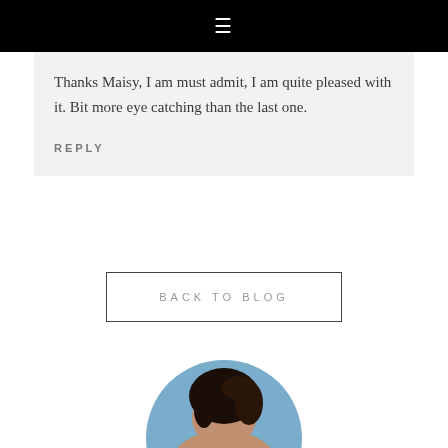☰
Thanks Maisy, I am must admit, I am quite pleased with it. Bit more eye catching than the last one.
REPLY
BACK TO BLOG
[Figure (photo): Circular avatar photo of a person with dark hair against a blue sky background, partially cropped at the bottom of the page.]